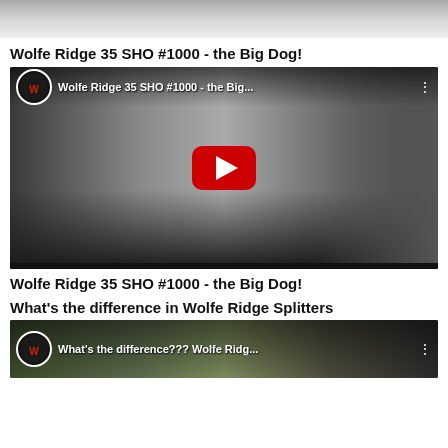[Figure (photo): Top cropped image showing partial view of machinery/equipment on snowy surface]
Wolfe Ridge 35 SHO #1000 - the Big Dog!
[Figure (screenshot): YouTube video thumbnail for 'Wolfe Ridge 35 SHO #1000 - the Big...', showing a log splitter machine in a workshop with a red YouTube play button overlay and Wolfe Ridge Mfg channel logo]
Wolfe Ridge 35 SHO #1000 - the Big Dog!
What's the difference in Wolfe Ridge Splitters
[Figure (screenshot): YouTube video thumbnail for 'What's the difference??? Wolfe Ridg...', showing outdoor scene with Wolfe Ridge Mfg channel logo]